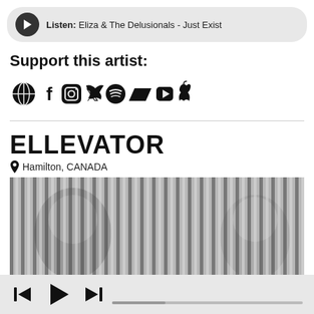Listen: Eliza & The Delusionals - Just Exist
Support this artist:
[Figure (infographic): Row of social media icons: globe, Facebook, Instagram, Twitter, Spotify, Bandcamp, YouTube, Apple]
ELLEVATOR
Hamilton, CANADA
[Figure (photo): Black and white photo of two people seen through vertical blinds or corrugated plastic, giving a striped distortion effect]
[Figure (infographic): Media player controls: skip back, play, skip forward, with a progress bar]